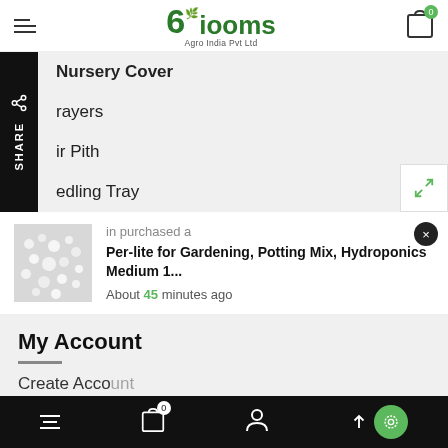Biolooms Agro India Pvt Ltd
Nursery Cover
rayers
ir Pith
edling Tray
in purchased a
Per-lite for Gardening, Potting Mix, Hydroponics Medium 1...
About 45 minutes ago
My Account
Create Account
Bottom navigation bar with menu, cart (0), account, and scroll-to-top buttons